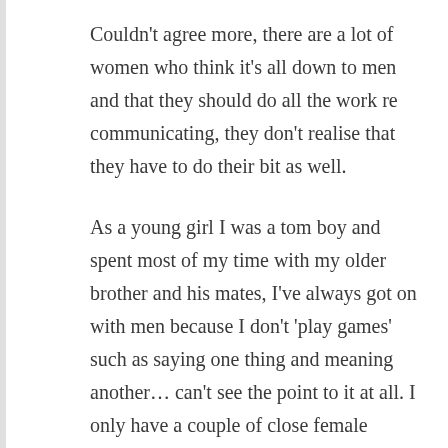Couldn't agree more, there are a lot of women who think it's all down to men and that they should do all the work re communicating, they don't realise that they have to do their bit as well.
As a young girl I was a tom boy and spent most of my time with my older brother and his mates, I've always got on with men because I don't 'play games' such as saying one thing and meaning another… can't see the point to it at all. I only have a couple of close female friends who are the same. Women also play these 'games' with